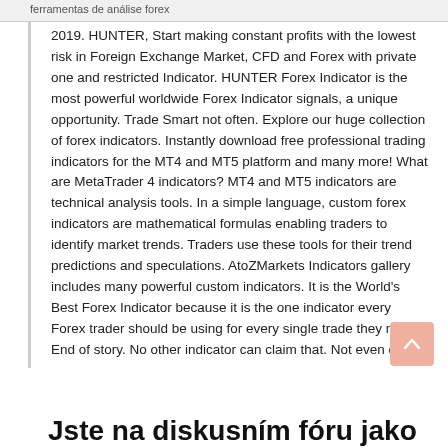ferramentas de análise forex
2019. HUNTER, Start making constant profits with the lowest risk in Foreign Exchange Market, CFD and Forex with private one and restricted Indicator. HUNTER Forex Indicator is the most powerful worldwide Forex Indicator signals, a unique opportunity. Trade Smart not often. Explore our huge collection of forex indicators. Instantly download free professional trading indicators for the MT4 and MT5 platform and many more! What are MetaTrader 4 indicators? MT4 and MT5 indicators are technical analysis tools. In a simple language, custom forex indicators are mathematical formulas enabling traders to identify market trends. Traders use these tools for their trend predictions and speculations. AtoZMarkets Indicators gallery includes many powerful custom indicators. It is the World's Best Forex Indicator because it is the one indicator every Forex trader should be using for every single trade they make. End of story. No other indicator can claim that. Not even close.
Jste na diskusním fóru jako